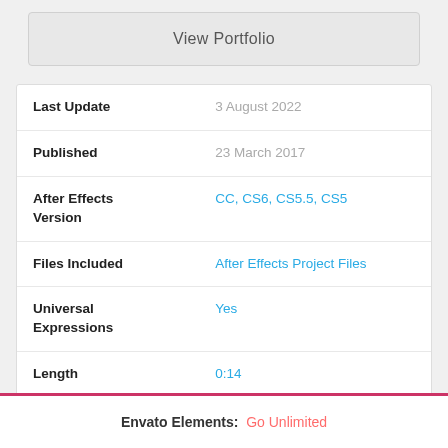View Portfolio
| Last Update | 3 August 2022 |
| Published | 23 March 2017 |
| After Effects Version | CC, CS6, CS5.5, CS5 |
| Files Included | After Effects Project Files |
| Universal Expressions | Yes |
| Length | 0:14 |
| Resolution | 1920x1080 |
| File Size | 5Mb |
Envato Elements:  Go Unlimited